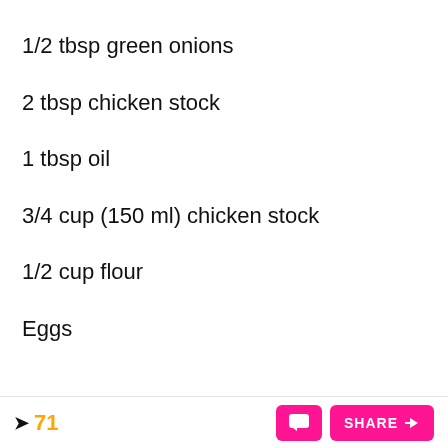1/2 tbsp green onions
2 tbsp chicken stock
1 tbsp oil
3/4 cup (150 ml) chicken stock
1/2 cup flour
Eggs
71  SHARE